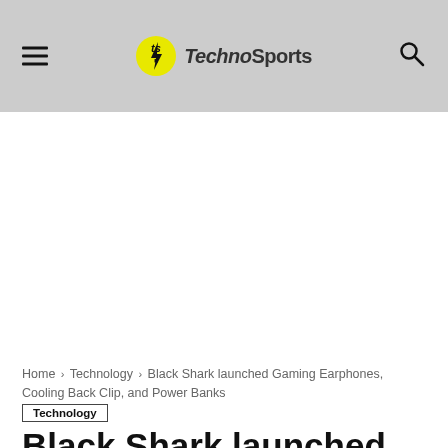TechnoSports
[Figure (other): White advertisement/blank space area]
Home › Technology › Black Shark launched Gaming Earphones, Cooling Back Clip, and Power Banks
Technology
Black Shark launched Gaming